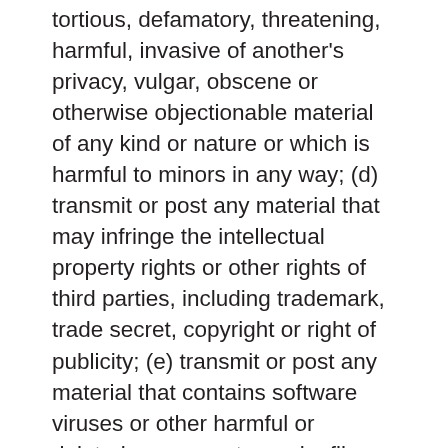tortious, defamatory, threatening, harmful, invasive of another's privacy, vulgar, obscene or otherwise objectionable material of any kind or nature or which is harmful to minors in any way; (d) transmit or post any material that may infringe the intellectual property rights or other rights of third parties, including trademark, trade secret, copyright or right of publicity; (e) transmit or post any material that contains software viruses or other harmful or deleterious computer code, files or programs such as Trojan horses, worms, time bombs and cancelbots; (f) interfere with or disrupt servers or networks connected to this Site or violate the regulations, policies or procedures of such networks; (g) attempt to gain unauthorized access to this Site or computer systems or networks connected to this Site through password mining or any other means; or (h) harass or interfere with another